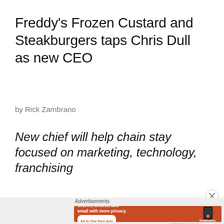Freddy's Frozen Custard and Steakburgers taps Chris Dull as new CEO
by Rick Zambrano
New chief will help chain stay focused on marketing, technology, franchising
[Figure (screenshot): DuckDuckGo advertisement banner with orange background: 'Search, browse, and email with more privacy. All in One Free App' with DuckDuckGo logo on phone]